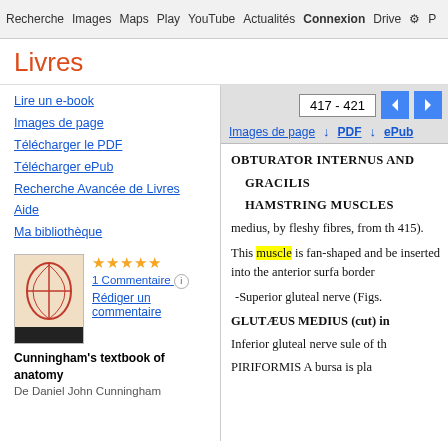Recherche  Images  Maps  Play  YouTube  Actualités  Connexion  Drive  ⚙  P
Livres
Lire un e-book
Images de page
Télécharger le PDF
Télécharger ePub
Recherche Avancée de Livres
Aide
Ma bibliothèque
[Figure (illustration): Book cover of Cunningham's textbook of anatomy with a red anatomical diagram]
★★★★★
1 Commentaire ⓘ
Rédiger un commentaire
Cunningham's textbook of anatomy
De Daniel John Cunningham
417 - 421
Images de page  ↓ PDF  ↓ ePub
OBTURATOR INTERNUS AND
GRACILIS
HAMSTRING MUSCLES
medius, by fleshy fibres, from th 415).
This muscle is fan-shaped and be inserted into the anterior surfa border
-Superior gluteal nerve (Figs.
GLUTÆUS MEDIUS (cut) in
Inferior gluteal nerve sule of th
PIRIFORMIS A bursa is pla